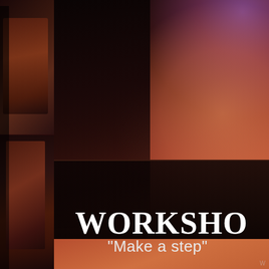[Figure (photo): Dance workshop promotional image. Left strip shows dim/dark photos of dancers. Main area shows a ballroom dance couple — a man in dark suit and a woman in a flowing pink/orange/peach ballroom gown with sparkly accessories, dancing against a dark background with purple and pink stage lighting.]
WORKSHOP
"Make a step"